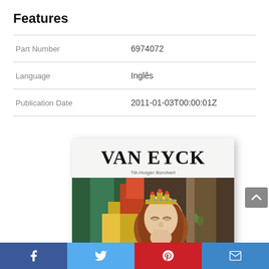Features
|  |  |
| --- | --- |
| Part Number | 6974072 |
| Language | Inglês |
| Publication Date | 2011-01-03T00:00:01Z |
[Figure (photo): Book cover of 'VAN EYCK' by Till-Holger Borchert (TASCHEN), showing the book title in large serif font and a cropped image of a Van Eyck painting depicting a woman with a crown.]